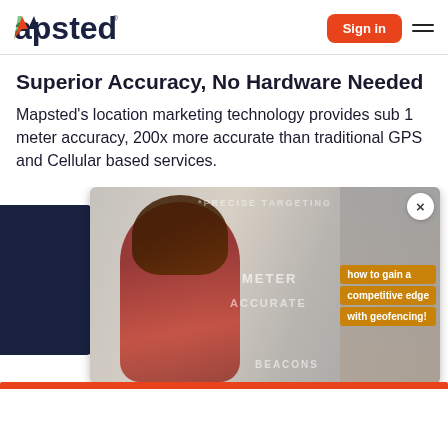Mapsted® | Sign in
Superior Accuracy, No Hardware Needed
Mapsted's location marketing technology provides sub 1 meter accuracy, 200x more accurate than traditional GPS and Cellular based services.
[Figure (screenshot): A promotional video popup overlay showing a woman shopping with text overlays: PRECISE TARGETING, METER, ACCURATE, BEACONS, and an orange CTA box reading 'how to gain a competitive edge with geofencing!' with a close (×) button. Behind the popup is a dark navy rectangle on the left.]